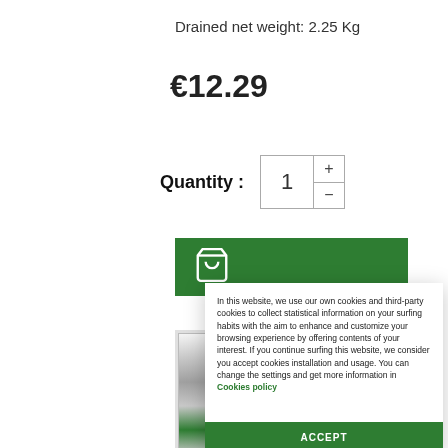Drained net weight: 2.25 Kg
€12.29
Quantity :
[Figure (screenshot): Green add-to-cart button with shopping cart icon]
[Figure (photo): Product image partially visible]
In this website, we use our own cookies and third-party cookies to collect statistical information on your surfing habits with the aim to enhance and customize your browsing experience by offering contents of your interest. If you continue surfing this website, we consider you accept cookies installation and usage. You can change the settings and get more information in Cookies policy
ACCEPT